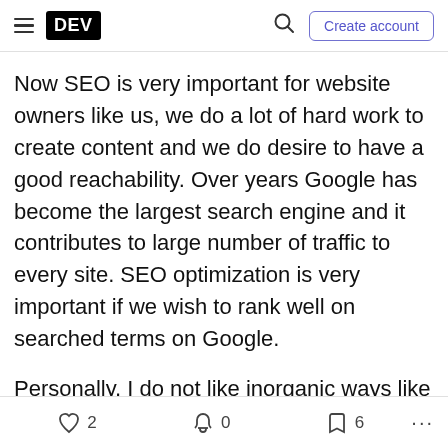DEV | Create account
Now SEO is very important for website owners like us, we do a lot of hard work to create content and we do desire to have a good reachability. Over years Google has become the largest search engine and it contributes to large number of traffic to every site. SEO optimization is very important if we wish to rank well on searched terms on Google.
Personally, I do not like inorganic ways like link building to improve my SEO score, but I do all I can in an organic way. Well that includes writing your HTML is best possible way. Always remember, this is secondary, writing high quality content is primary.
2  0  6  ...